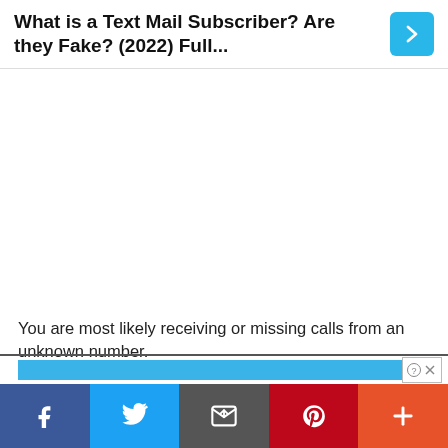What is a Text Mail Subscriber? Are they Fake? (2022) Full...
[Figure (other): White/blank advertisement area]
You are most likely receiving or missing calls from an unknown number.
Social share bar: Facebook, Twitter, Email, Pinterest, More